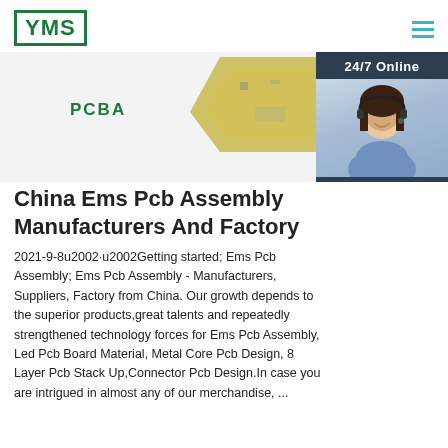[Figure (logo): YMS logo in green rectangle border with bold green text]
[Figure (illustration): PCB board shape in gold/yellow color at top center of banner area]
PCBA
[Figure (photo): Customer service agent woman with headset, 24/7 Online chat widget overlay with dark background, Click here for free chat button, and QUOTATION orange button]
China Ems Pcb Assembly Manufacturers And Factory
2021-9-8u2002·u2002Getting started; Ems Pcb Assembly; Ems Pcb Assembly - Manufacturers, Suppliers, Factory from China. Our growth depends to the superior products,great talents and repeatedly strengthened technology forces for Ems Pcb Assembly, Led Pcb Board Material, Metal Core Pcb Design, 8 Layer Pcb Stack Up,Connector Pcb Design.In case you are intrigued in almost any of our merchandise, ...